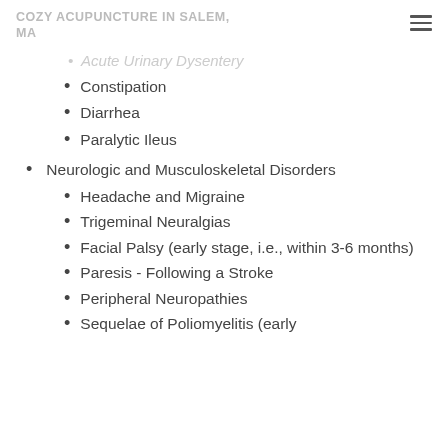COZY ACUPUNCTURE IN SALEM, MA
Acute Urinary Dysentery (partial, faded)
Constipation
Diarrhea
Paralytic Ileus
Neurologic and Musculoskeletal Disorders
Headache and Migraine
Trigeminal Neuralgias
Facial Palsy (early stage, i.e., within 3-6 months)
Paresis - Following a Stroke
Peripheral Neuropathies
Sequelae of Poliomyelitis (early